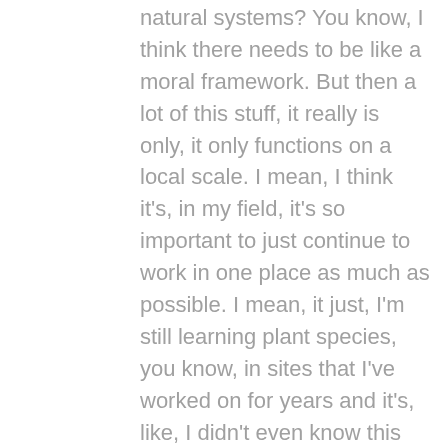natural systems? You know, I think there needs to be like a moral framework. But then a lot of this stuff, it really is only, it only functions on a local scale. I mean, I think it's, in my field, it's so important to just continue to work in one place as much as possible. I mean, it just, I'm still learning plant species, you know, in sites that I've worked on for years and it's, like, I didn't even know this thing existed. And so some level of local control, even if we're operating in the space where government and funding and all of these things are major factors, you need local experts. And some of that is just that, like, we don't orient our society towards local expertise because people have to have jobs and they need to move on from those jobs. And sometimes a career